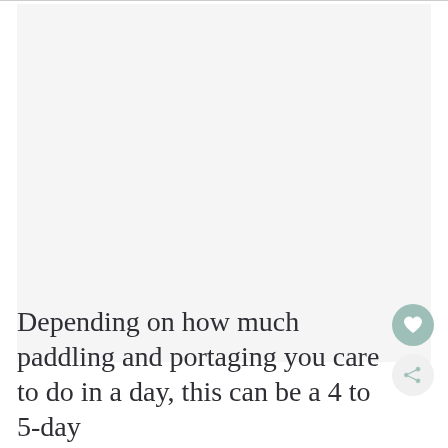[Figure (photo): Large image area occupying most of the upper portion of the page, appears as a light gray/white placeholder]
Depending on how much paddling and portaging you care to do in a day, this can be a 4 to 5-day